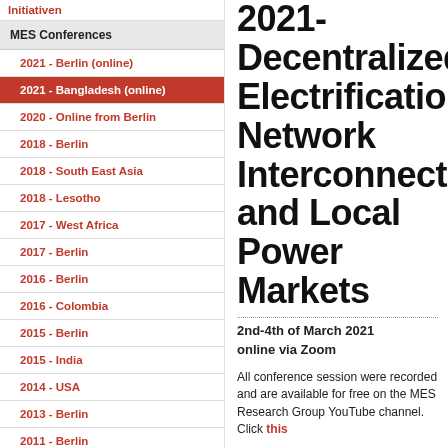Initiativen
MES Conferences
2021 - Berlin (online)
2021 - Bangladesh (online)
2020 - Online from Berlin
2018 - Berlin
2018 - South East Asia
2018 - Lesotho
2017 - West Africa
2017 - Berlin
2016 - Berlin
2016 - Colombia
2015 - Berlin
2015 - India
2014 - USA
2013 - Berlin
2011 - Berlin
2021- Decentralized Electrification Network Interconnection and Local Power Markets
2nd-4th of March 2021
online via Zoom
All conference session were recorded and are available for free on the MES Research Group YouTube channel. Click this